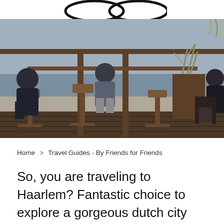[Figure (photo): People sitting on bar stools at a wooden outdoor beach bar/terrace, viewed from behind, overlooking the sea. Wooden furniture and plants visible.]
Home > Travel Guides - By Friends for Friends
So, you are traveling to Haarlem? Fantastic choice to explore a gorgeous dutch city located next to the beach. Haarlem is a picturesque little city